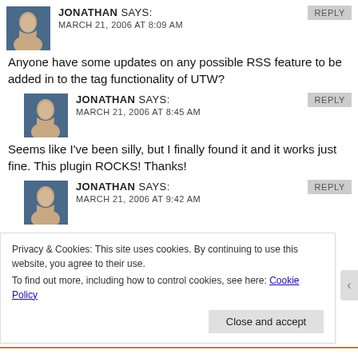JONATHAN SAYS:
MARCH 21, 2006 AT 8:09 AM
Anyone have some updates on any possible RSS feature to be added in to the tag functionality of UTW?
JONATHAN SAYS:
MARCH 21, 2006 AT 8:45 AM
Seems like I've been silly, but I finally found it and it works just fine. This plugin ROCKS! Thanks!
JONATHAN SAYS:
MARCH 21, 2006 AT 9:42 AM
Privacy & Cookies: This site uses cookies. By continuing to use this website, you agree to their use.
To find out more, including how to control cookies, see here: Cookie Policy